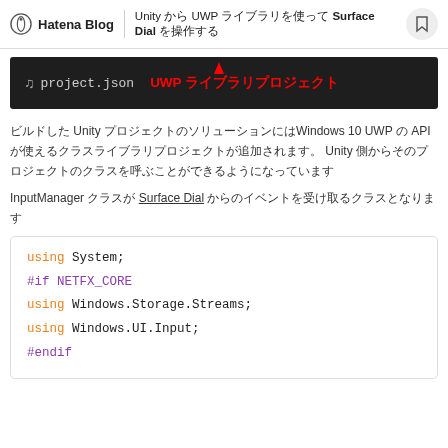Hatena Blog | Unity から UWP ライブラリを使って Surface Dial を操作する
[Figure (screenshot): Dark IDE panel showing project.json file tab with red label 'UWP ライブラリプロジェクト' and red arrow pointing to it]
ビルドした Unity プロジェクトのソリューションにはWindows 10 UWP の API が使えるクラスライブラリプロジェクトが追加されます。 Unity 側からそのプロジェクトのクラスを呼ぶことができるようになっています
InputManager クラスが Surface Dial からのイベントを受け取るクラスとなります
using System;
#if NETFX_CORE
using Windows.Storage.Streams;
using Windows.UI.Input;
#endif